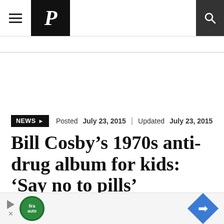P (The Washington Post logo) — navigation bar with hamburger menu and search icon
NEWS > Posted July 23, 2015 | Updated July 23, 2015
Bill Cosby's 1970s anti-drug album for kids: 'Say no to pills'
It was produced during a time when Cosby was making fun of drugs in some of his comedy